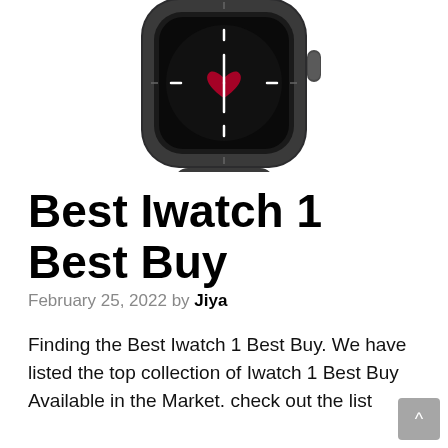[Figure (photo): Apple Watch Series shown from the front and side, dark gray/space gray aluminum case with black sport band, heart rate display on watch face, digital crown visible on side]
Best Iwatch 1 Best Buy
February 25, 2022 by Jiya
Finding the Best Iwatch 1 Best Buy. We have listed the top collection of Iwatch 1 Best Buy Available in the Market. check out the list